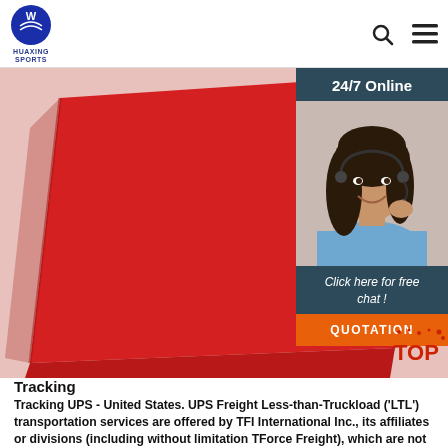HUAXING SPORTS
[Figure (photo): Red sports bag / pouch on white background, with a customer service chat widget overlay on the right showing a woman with headset, '24/7 Online' header, 'Click here for free chat!' text, and a QUOTATION button]
Tracking
Tracking UPS - United States. UPS Freight Less-than-Truckload ('LTL') transportation services are offered by TFI International Inc., its affiliates or divisions (including without limitation TForce Freight), which are not affiliated with United Parcel Service, Inc. or any of its affiliates, subsidiaries or related entities ('UPS').